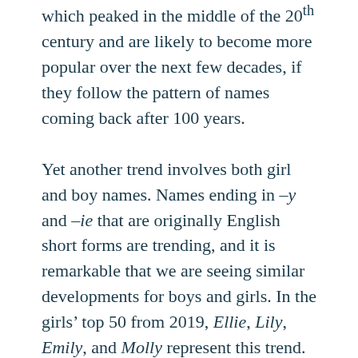which peaked in the middle of the 20th century and are likely to become more popular over the next few decades, if they follow the pattern of names coming back after 100 years.
Yet another trend involves both girl and boy names. Names ending in –y and –ie that are originally English short forms are trending, and it is remarkable that we are seeing similar developments for boys and girls. In the girls' top 50 from 2019, Ellie, Lily, Emily, and Molly represent this trend. This name type is not represented in the boys' top 50, but names like Eddie, Henry, and Villy have all been on the rise for the past decade. Some of these names are unisex names, for example Billie, which is used for both boys and girls, however with Billy as